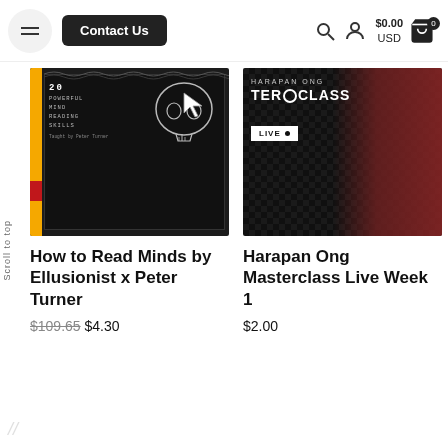Contact Us  $0.00 USD
[Figure (screenshot): Product image for 'How to Read Minds by Ellusionist x Peter Turner' — dark background with skull graphic, yellow left strip, text overlay '20 Powerful Mind Reading Skills']
How to Read Minds by Ellusionist x Peter Turner
$109.65 $4.30
[Figure (screenshot): Product image for 'Harapan Ong Masterclass Live Week 1' — dark patterned background with text 'HARAPAN ONG MASTERCLASS' and 'LIVE' badge, person in red shirt visible on right]
Harapan Ong Masterclass Live Week 1
$2.00